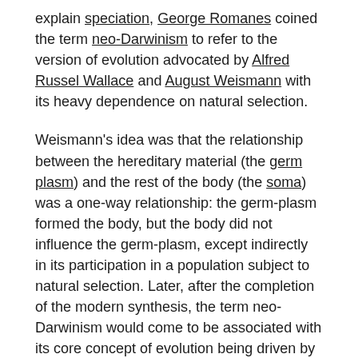explain speciation, George Romanes coined the term neo-Darwinism to refer to the version of evolution advocated by Alfred Russel Wallace and August Weismann with its heavy dependence on natural selection.
Weismann's idea was that the relationship between the hereditary material (the germ plasm) and the rest of the body (the soma) was a one-way relationship: the germ-plasm formed the body, but the body did not influence the germ-plasm, except indirectly in its participation in a population subject to natural selection. Later, after the completion of the modern synthesis, the term neo-Darwinism would come to be associated with its core concept of evolution being driven by natural selection acting on variation produced by genetic mutation and recombination.
11.24.1.2 1900–1915